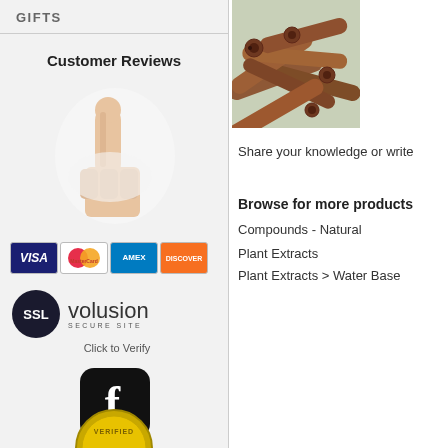GIFTS
Customer Reviews
[Figure (illustration): Thumbs up hand gesture breaking through paper]
[Figure (illustration): Payment card logos: VISA, MasterCard, American Express, Discover]
[Figure (logo): SSL Volusion Secure Site logo with Click to Verify text]
[Figure (logo): Facebook app icon with white F on black rounded square]
[Figure (illustration): Verified badge (partially visible at bottom)]
[Figure (photo): Cinnamon sticks product photo]
Share your knowledge or write
Browse for more products
Compounds - Natural
Plant Extracts
Plant Extracts > Water Base